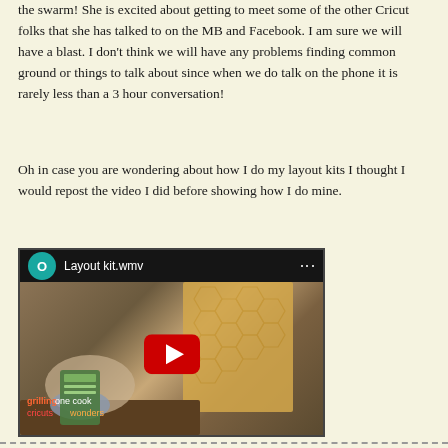the swarm! She is excited about getting to meet some of the other Cricut folks that she has talked to on the MB and Facebook. I am sure we will have a blast. I don't think we will have any problems finding common ground or things to talk about since when we do talk on the phone it is rarely less than a 3 hour conversation!
Oh in case you are wondering about how I do my layout kits I thought I would repost the video I did before showing how I do mine.
[Figure (screenshot): YouTube video thumbnail showing a person working on a layout kit, with a video title 'Layout kit.wmv' and a YouTube play button overlay.]
- - - - - - - - - - - - - - - - - - - - - - - - - - - - - - - - - - - - - - - - - - - - - - - - - - - - - - - - - - -